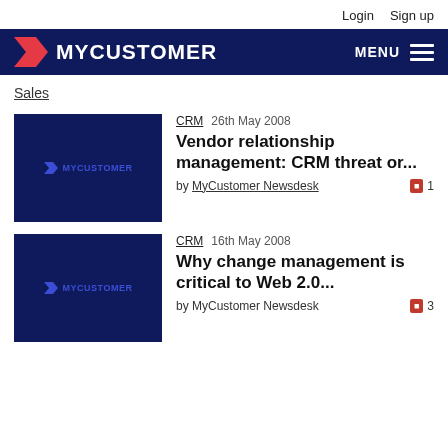Login  Sign up
[Figure (logo): MyCustomer logo with red arrow chevron and white text on dark navy background, with MENU hamburger button on right]
Sales
[Figure (screenshot): MyCustomer thumbnail image placeholder with dark navy background and small blue MyCustomer logo]
CRM  26th May 2008
Vendor relationship management: CRM threat or...
by MyCustomer Newsdesk  1
[Figure (screenshot): MyCustomer thumbnail image placeholder with dark navy background and small blue MyCustomer logo]
CRM  16th May 2008
Why change management is critical to Web 2.0...
by MyCustomer Newsdesk  3